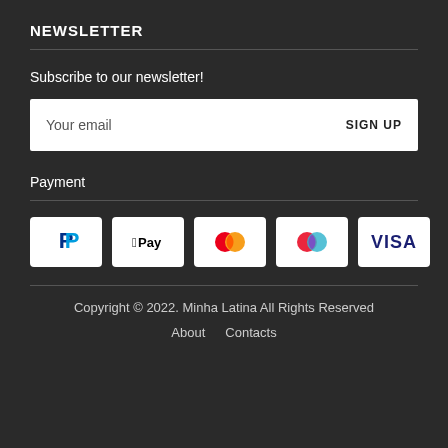NEWSLETTER
Subscribe to our newsletter!
Your email  SIGN UP
Payment
[Figure (logo): Payment method logos: PayPal, Apple Pay, Mastercard, another card logo, Visa]
Copyright © 2022. Minha Latina All Rights Reserved
About   Contacts